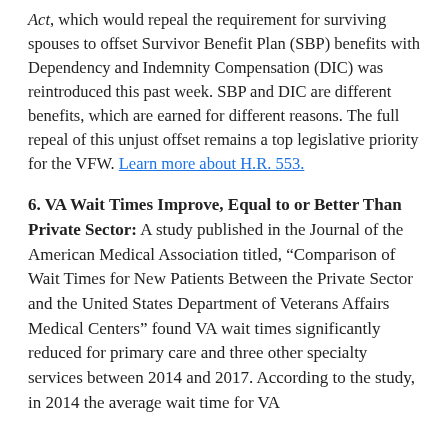Act, which would repeal the requirement for surviving spouses to offset Survivor Benefit Plan (SBP) benefits with Dependency and Indemnity Compensation (DIC) was reintroduced this past week. SBP and DIC are different benefits, which are earned for different reasons. The full repeal of this unjust offset remains a top legislative priority for the VFW. Learn more about H.R. 553.
6. VA Wait Times Improve, Equal to or Better Than Private Sector: A study published in the Journal of the American Medical Association titled, “Comparison of Wait Times for New Patients Between the Private Sector and the United States Department of Veterans Affairs Medical Centers” found VA wait times significantly reduced for primary care and three other specialty services between 2014 and 2017. According to the study, in 2014 the average wait time for VA